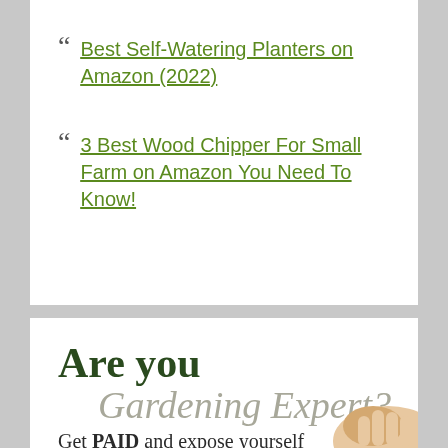Best Self-Watering Planters on Amazon (2022)
3 Best Wood Chipper For Small Farm on Amazon You Need To Know!
[Figure (infographic): Are you Gardening Expert? Get PAID and expose yourself to 10k+ readers who can b...]